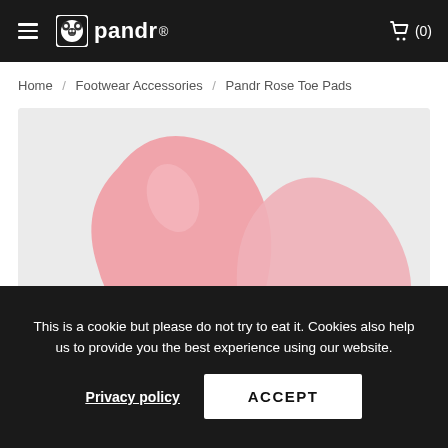pandr (0)
Home / Footwear Accessories / Pandr Rose Toe Pads
[Figure (photo): Close-up product photo of pink silicone toe pads (Pandr Rose Toe Pads) on a light grey background]
This is a cookie but please do not try to eat it. Cookies also help us to provide you the best experience using our website.
Privacy policy
ACCEPT